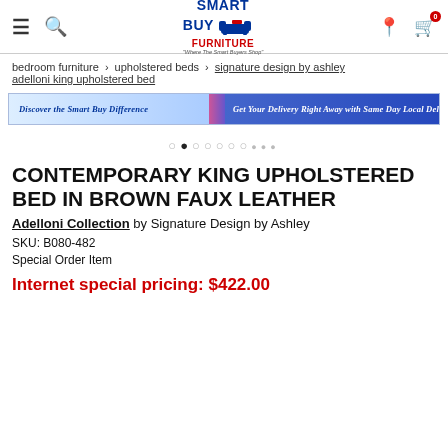Smart Buy Furniture — Where The Smart Buyers Shop
bedroom furniture › upholstered beds › signature design by ashley adelloni king upholstered bed
[Figure (illustration): Smart Buy Furniture promotional banner: 'Discover the Smart Buy Difference' and 'Get Your Delivery Right Away with Same Day Local Delivery']
[Figure (other): Carousel navigation dots indicating image gallery position]
CONTEMPORARY KING UPHOLSTERED BED IN BROWN FAUX LEATHER
Adelloni Collection by Signature Design by Ashley
SKU: B080-482
Special Order Item
Internet special pricing: $422.00